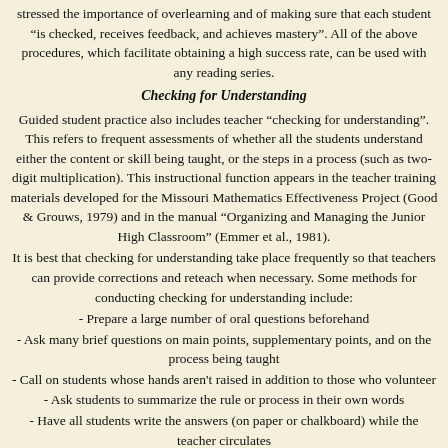stressed the importance of overlearning and of making sure that each student “is checked, receives feedback, and achieves mastery”. All of the above procedures, which facilitate obtaining a high success rate, can be used with any reading series.
Checking for Understanding
Guided student practice also includes teacher “checking for understanding”. This refers to frequent assessments of whether all the students understand either the content or skill being taught, or the steps in a process (such as two-digit multiplication). This instructional function appears in the teacher training materials developed for the Missouri Mathematics Effectiveness Project (Good & Grouws, 1979) and in the manual “Organizing and Managing the Junior High Classroom” (Emmer et al., 1981).
It is best that checking for understanding take place frequently so that teachers can provide corrections and reteach when necessary. Some methods for conducting checking for understanding include:
- Prepare a large number of oral questions beforehand
- Ask many brief questions on main points, supplementary points, and on the process being taught
- Call on students whose hands aren't raised in addition to those who volunteer
- Ask students to summarize the rule or process in their own words
- Have all students write the answers (on paper or chalkboard) while the teacher circulates
- Have all students write the answers and check them with a neighbor (frequently used with older students)
- At the end of a lecture/discussion (especially with older students) write the main points on the board and have the class meet in groups and summarize the main points to each other.
The wrong way to check for understanding is to ask only a few questions, call on volunteers to hear their (usually correct) answers, and then assume